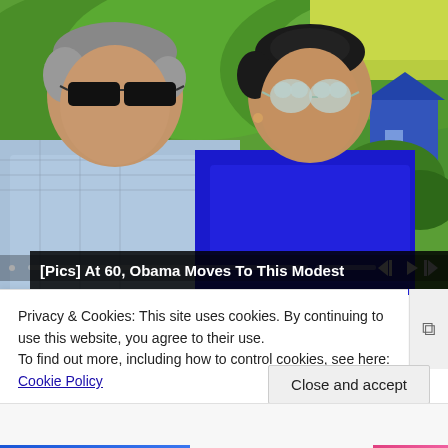[Figure (photo): Photo of two people wearing sunglasses outdoors with green trees and a blue house in the background. Man on the left in blue plaid shirt, woman on the right in blue top.]
[Pics] At 60, Obama Moves To This Modest
Privacy & Cookies: This site uses cookies. By continuing to use this website, you agree to their use.
To find out more, including how to control cookies, see here: Cookie Policy
Close and accept